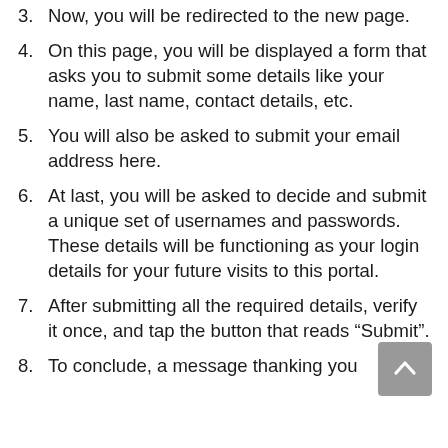3. Now, you will be redirected to the new page.
4. On this page, you will be displayed a form that asks you to submit some details like your name, last name, contact details, etc.
5. You will also be asked to submit your email address here.
6. At last, you will be asked to decide and submit a unique set of usernames and passwords. These details will be functioning as your login details for your future visits to this portal.
7. After submitting all the required details, verify it once, and tap the button that reads “Submit”.
8. To conclude, a message thanking you